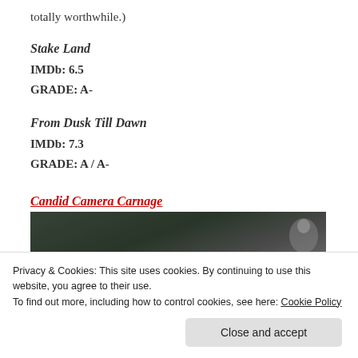totally worthwhile.)
Stake Land
IMDb: 6.5
GRADE: A-
From Dusk Till Dawn
IMDb: 7.3
GRADE: A / A-
Candid Camera Carnage
[Figure (photo): Dark movie still showing a face with glowing red text overlay]
Privacy & Cookies: This site uses cookies. By continuing to use this website, you agree to their use.
To find out more, including how to control cookies, see here: Cookie Policy